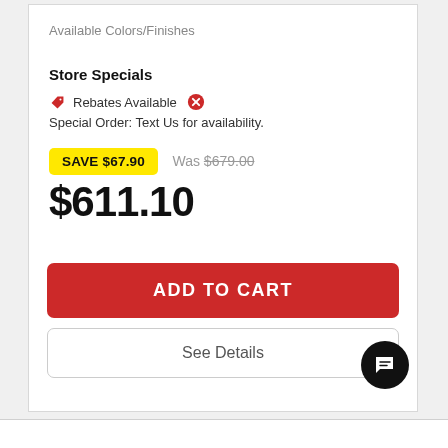Available Colors/Finishes
Store Specials
Rebates Available   Special Order: Text Us for availability.
SAVE $67.90   Was $679.00
$611.10
ADD TO CART
See Details